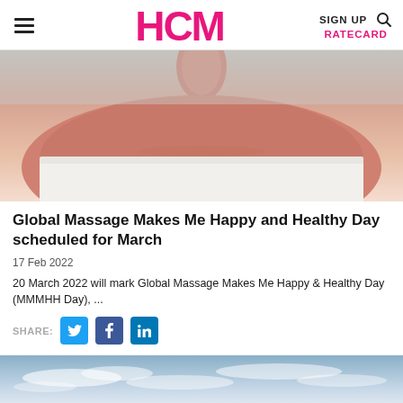HCM | SIGN UP | RATECARD
[Figure (photo): Woman wrapped in white towel at spa, neck and shoulders visible]
Global Massage Makes Me Happy and Healthy Day scheduled for March
17 Feb 2022
20 March 2022 will mark Global Massage Makes Me Happy & Healthy Day (MMMHH Day), ...
SHARE: [Twitter] [Facebook] [LinkedIn]
[Figure (photo): Sky with clouds, sunset or daytime sky landscape]